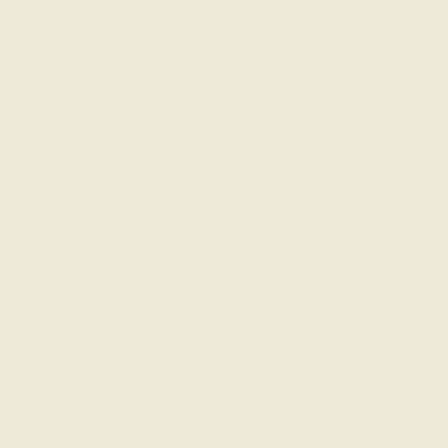Potbury and Billingsley laid ho After this, at the End of Cather also his Gold Watch, but as the were for once so honest as to r they all sheer'd off.
AFTER this they went to Fenc whilst Potbury robbed him of h the first Street they came to, th crying out, Thieves! Thieves! u laid hold of Field; but his Com Gentlemen with their Bludgeo off.
FROM thence they went to Bis and while some of them held h Gentleman attempting to lay h in between the Gentleman and upon which one of them took i bad Company, take your Hat, a can, for Fear of further Mischi afraid you are a Parcel of Rogu
THE same Night, in a Street by Gentleman, and Potbury took h